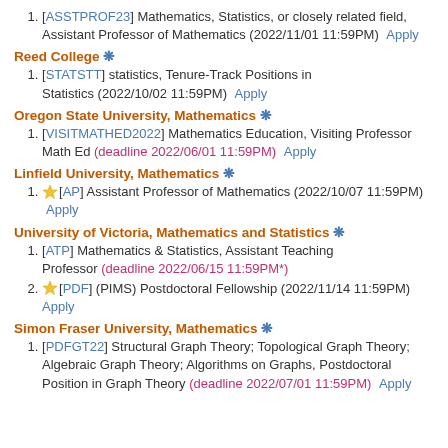[ASSTPROF23] Mathematics, Statistics, or closely related field, Assistant Professor of Mathematics (2022/11/01 11:59PM)  Apply
Reed College ❄
[STATSTT] statistics, Tenure-Track Positions in Statistics (2022/10/02 11:59PM)  Apply
Oregon State University, Mathematics ❄
[VISITMATHED2022] Mathematics Education, Visiting Professor Math Ed (deadline 2022/06/01 11:59PM)  Apply
Linfield University, Mathematics ❄
⭐[AP] Assistant Professor of Mathematics (2022/10/07 11:59PM)  Apply
University of Victoria, Mathematics and Statistics ❄
[ATP] Mathematics & Statistics, Assistant Teaching Professor (deadline 2022/06/15 11:59PM*)
⭐[PDF] (PIMS) Postdoctoral Fellowship (2022/11/14 11:59PM)  Apply
Simon Fraser University, Mathematics ❄
[PDFGT22] Structural Graph Theory; Topological Graph Theory; Algebraic Graph Theory; Algorithms on Graphs, Postdoctoral Position in Graph Theory (deadline 2022/07/01 11:59PM)  Apply